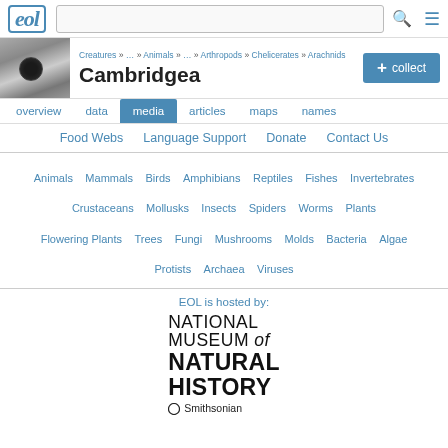eol | [search bar] | menu
[Figure (photo): Thumbnail photo of a dark circular feature, possibly spider or arthropod close-up]
Creatures » … » Animals » … » Arthropods » Chelicerates » Arachnids
Cambridgea
+ collect
overview  data  media  articles  maps  names
Food Webs   Language Support   Donate   Contact Us
Animals  Mammals  Birds  Amphibians  Reptiles  Fishes  Invertebrates  Crustaceans  Mollusks  Insects  Spiders  Worms  Plants  Flowering Plants  Trees  Fungi  Mushrooms  Molds  Bacteria  Algae  Protists  Archaea  Viruses
EOL is hosted by:
[Figure (logo): National Museum of Natural History - Smithsonian logo]